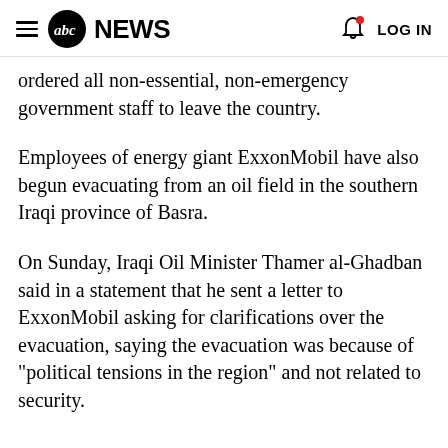abc NEWS  LOG IN
ordered all non-essential, non-emergency government staff to leave the country.
Employees of energy giant ExxonMobil have also begun evacuating from an oil field in the southern Iraqi province of Basra.
On Sunday, Iraqi Oil Minister Thamer al-Ghadban said in a statement that he sent a letter to ExxonMobil asking for clarifications over the evacuation, saying the evacuation was because of "political tensions in the region" and not related to security.